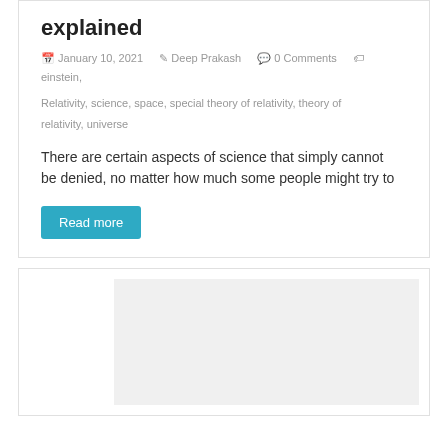explained
January 10, 2021   Deep Prakash   0 Comments   einstein, Relativity, science, space, special theory of relativity, theory of relativity, universe
There are certain aspects of science that simply cannot be denied, no matter how much some people might try to
Read more
[Figure (photo): Thumbnail image placeholder for a second blog post card]